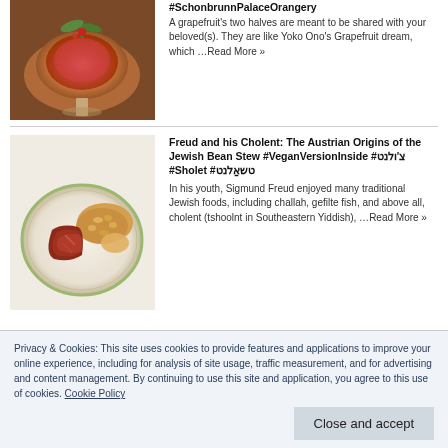[Figure (photo): A grapefruit dessert in a glass dish with mint leaves and berries on top, on a wooden surface]
#SchonbrunnPalaceOrangery A grapefruit's two halves are meant to be shared with your beloved(s). They are like Yoko Ono's Grapefruit dream, which …Read More »
[Figure (photo): A white plate with cholent (Jewish bean stew) and sliced meat on a white background]
Freud and his Cholent: The Austrian Origins of the Jewish Bean Stew #VeganVersionInside #צ'ולנט #Sholet #טשאַלנט
In his youth, Sigmund Freud enjoyed many traditional Jewish foods, including challah, gefilte fish, and above all, cholent (tshoolnt in Southeastern Yiddish), …Read More »
Privacy & Cookies: This site uses cookies to provide features and applications to improve your online experience, including for analysis of site usage, traffic measurement, and for advertising and content management. By continuing to use this site and application, you agree to this use of cookies. Cookie Policy
Close and accept
[Figure (photo): Partial view of another food article image at the bottom]
THE recent rise in popularity of artichokes in